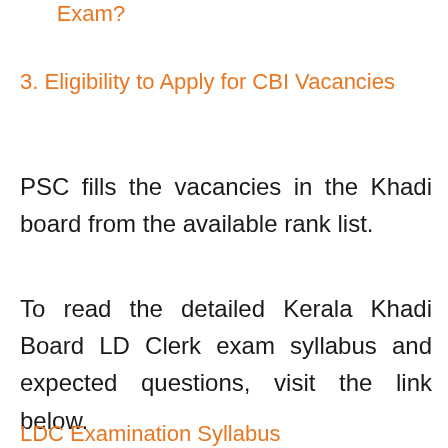Exam?
3. Eligibility to Apply for CBI Vacancies
PSC fills the vacancies in the Khadi board from the available rank list.
To read the detailed Kerala Khadi Board LD Clerk exam syllabus and expected questions, visit the link below.
LDC Examination Syllabus